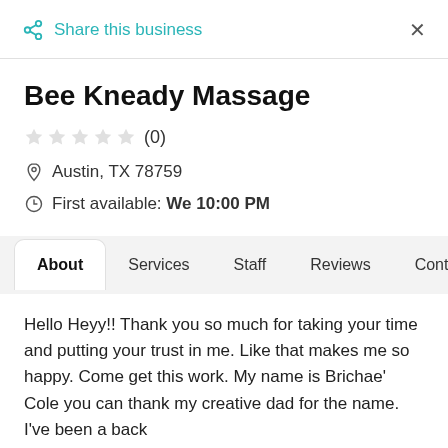Share this business  ×
Bee Kneady Massage
☆☆☆☆☆ (0)
Austin, TX 78759
First available: We 10:00 PM
About
Services
Staff
Reviews
Contact
Hello Heyy!! Thank you so much for taking your time and putting your trust in me. Like that makes me so happy. Come get this work. My name is Brichae' Cole you can thank my creative dad for the name. I've been a back